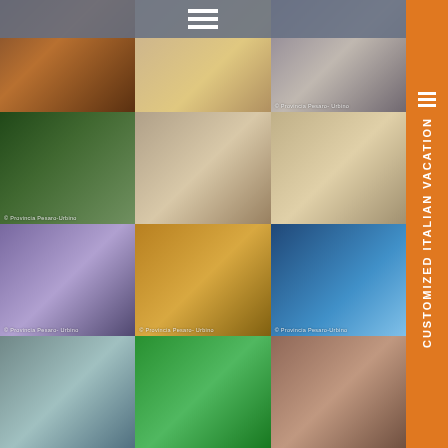[Figure (photo): Collage of 12 photos arranged in a 3x4 grid showing Italian scenes: local food products/jars, cheese/bread, monastery courtyard, pine tree and monastery landscape, ancient Roman arch gate, outdoor café chairs, medieval festival parade, gothic altarpiece painting, beach umbrellas and sea, mountain gorge, crowded beach aerial, aerial view of hilltop medieval town. Copyright watermarks: © Provincia Pesaro-Urbino on several images.]
CUSTOMIZED ITALIAN VACATION